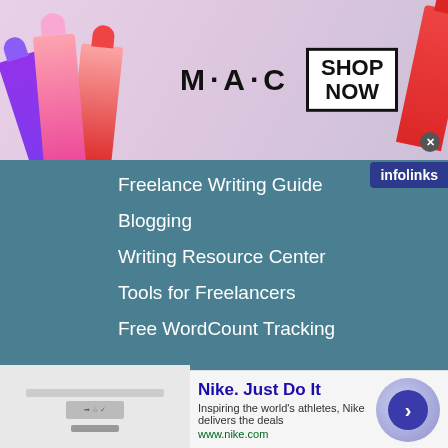[Figure (screenshot): MAC Cosmetics banner advertisement showing lipsticks in purple, pink, and red colors, with MAC logo and SHOP NOW call to action button]
Freelance Writing Guide
Blogging
Writing Resource Center
Tools for Freelancers
Free WordCount Tracking
Resources
Freelance Writing Resources
[Figure (screenshot): Nike advertisement: Nike. Just Do It. Inspiring the world's athletes, Nike delivers the deals. www.nike.com]